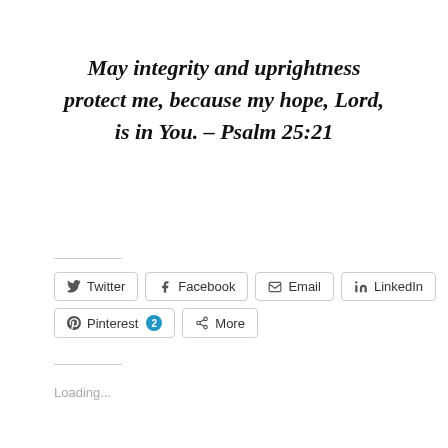May integrity and uprightness protect me, because my hope, Lord, is in You. – Psalm 25:21
[Figure (other): Social sharing buttons row: Twitter, Facebook, Email, LinkedIn, Pinterest (with badge 2), More]
Loading...